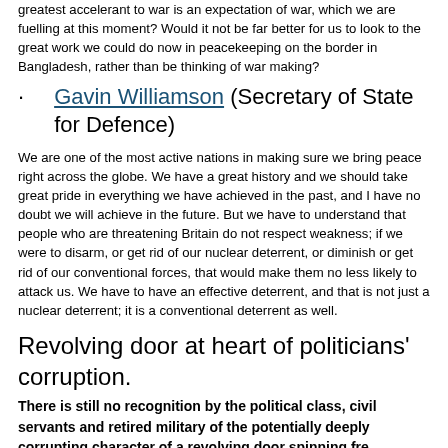greatest accelerant to war is an expectation of war, which we are fuelling at this moment? Would it not be far better for us to look to the great work we could do now in peacekeeping on the border in Bangladesh, rather than be thinking of war making?
· Gavin Williamson (Secretary of State for Defence)
We are one of the most active nations in making sure we bring peace right across the globe. We have a great history and we should take great pride in everything we have achieved in the past, and I have no doubt we will achieve in the future. But we have to understand that people who are threatening Britain do not respect weakness; if we were to disarm, or get rid of our nuclear deterrent, or diminish or get rid of our conventional forces, that would make them no less likely to attack us. We have to have an effective deterrent, and that is not just a nuclear deterrent; it is a conventional deterrent as well.
Revolving door at heart of politicians' corruption.
There is still no recognition by the political class, civil servants and retired military of the potentially deeply corrupting character of a revolving door spinning fre… Parliament has disgraced itself again in the conduct of the past PM and Chancellor.